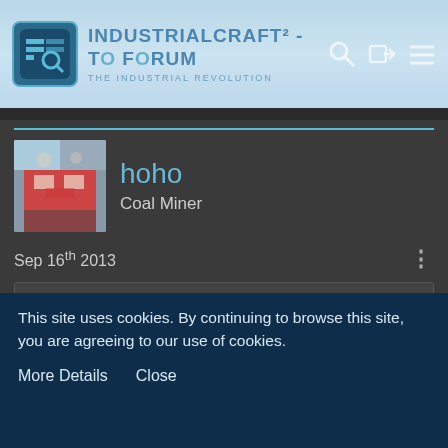IndustrialCraft² - The Forum · The Industrial Revolution
hoho
Coal Miner
Sep 16th 2013
Quote from Chocohead
So it does. All you need to do now is put free WiFi everywhere.
Wait, did you expect that an app could get the sensor information without internet connection?
This site uses cookies. By continuing to browse this site, you are agreeing to our use of cookies.
More Details   Close